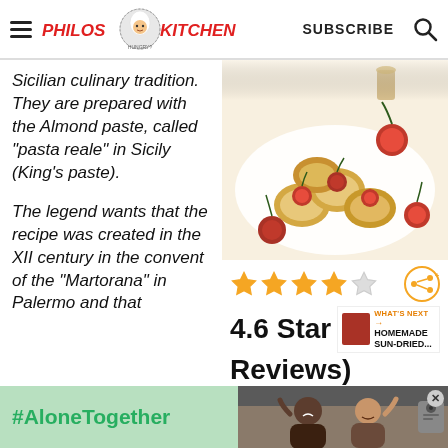Philos Kitchen — SUBSCRIBE
Sicilian culinary tradition. They are prepared with the Almond paste, called "pasta reale" in Sicily (King's paste).
The legend wants that the recipe was created in the XII century in the convent of the "Martorana" in Palermo and that
[Figure (photo): Photo of Sicilian almond paste cookies topped with red cherries on a white plate, with additional cherries and a glass in background.]
[Figure (infographic): 4.6 star rating shown with 4 filled gold stars and 1 half/empty star, plus a share icon. Text: 4.6 Stars (Reviews)]
4.6 Stars
Reviews)
[Figure (infographic): WHAT'S NEXT arrow label with HOMEMADE SUN-DRIED... text and thumbnail image]
[Figure (photo): Advertisement banner with #AloneTogether hashtag and a photo of two people smiling and waving.]